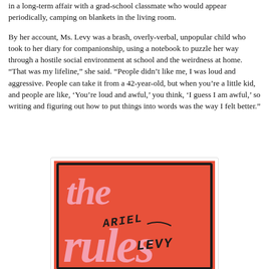in a long-term affair with a grad-school classmate who would appear periodically, camping on blankets in the living room.
By her account, Ms. Levy was a brash, overly-verbal, unpopular child who took to her diary for companionship, using a notebook to puzzle her way through a hostile social environment at school and the weirdness at home. “That was my lifeline,” she said. “People didn’t like me, I was loud and aggressive. People can take it from a 42-year-old, but when you’re a little kid, and people are like, ‘You’re loud and awful,’ you think, ‘I guess I am awful,’ so writing and figuring out how to put things into words was the way I felt better.”
[Figure (illustration): Book cover of 'The Rules Do Not Apply' by Ariel Levy. Orange/red background with 'the rules' in large pink text and 'ARIEL LEVY' handwritten in black script over the word 'rules'. The author's name is written in a casual handwritten style across the cover.]